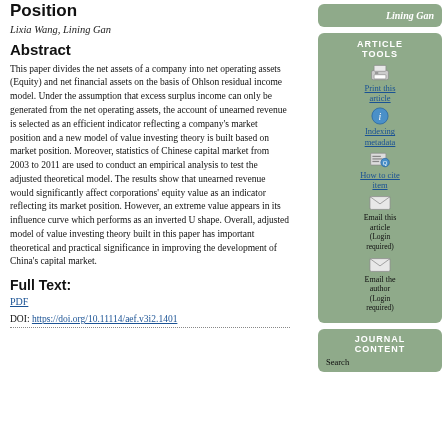Position
Lixia Wang, Lining Gan
Abstract
This paper divides the net assets of a company into net operating assets (Equity) and net financial assets on the basis of Ohlson residual income model. Under the assumption that excess surplus income can only be generated from the net operating assets, the account of unearned revenue is selected as an efficient indicator reflecting a company's market position and a new model of value investing theory is built based on market position. Moreover, statistics of Chinese capital market from 2003 to 2011 are used to conduct an empirical analysis to test the adjusted theoretical model. The results show that unearned revenue would significantly affect corporations' equity value as an indicator reflecting its market position. However, an extreme value appears in its influence curve which performs as an inverted U shape. Overall, adjusted model of value investing theory built in this paper has important theoretical and practical significance in improving the development of China's capital market.
Full Text:
PDF
DOI: https://doi.org/10.11114/aef.v3i2.1401
Lining Gan
ARTICLE TOOLS
Print this article
Indexing metadata
How to cite item
Email this article (Login required)
Email the author (Login required)
JOURNAL CONTENT
Search